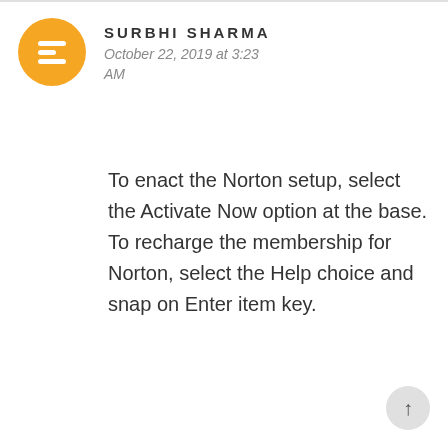SURBHI SHARMA
October 22, 2019 at 3:23 AM
To enact the Norton setup, select the Activate Now option at the base. To recharge the membership for Norton, select the Help choice and snap on Enter item key.